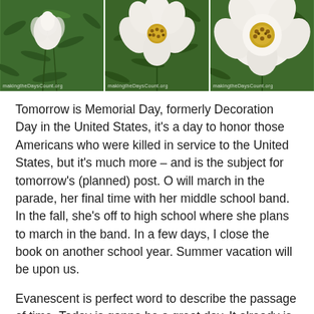[Figure (photo): Three side-by-side photos of white peony flowers with green foliage background. Each photo has a small watermark at the bottom left reading 'makingtheDaysCount.org'.]
Tomorrow is Memorial Day, formerly Decoration Day in the United States, it's a day to honor those Americans who were killed in service to the United States, but it's much more – and is the subject for tomorrow's (planned) post. O will march in the parade, her final time with her middle school band. In the fall, she's off to high school where she plans to march in the band. In a few days, I close the book on another school year. Summer vacation will be upon us.
Evanescent is perfect word to describe the passage of time. Today is gonna be a great day. It already is, so I'd better jump up, jump in, and seize the day. Making the Days Count, one day at a time, one evanescent moment after another.